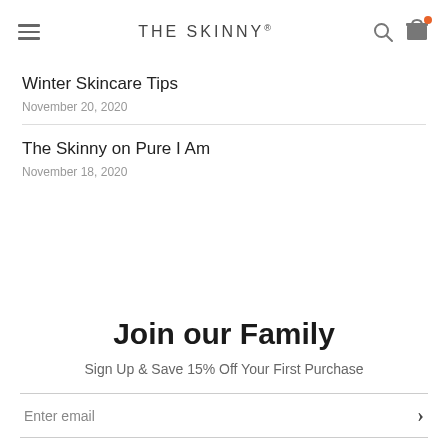THE SKINNY®
Winter Skincare Tips
November 20, 2020
The Skinny on Pure I Am
November 18, 2020
Join our Family
Sign Up & Save 15% Off Your First Purchase
Enter email